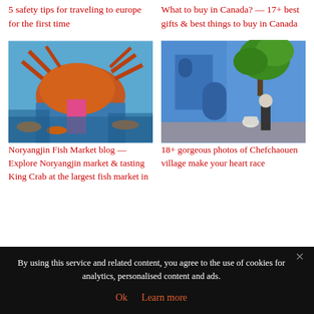5 safety tips for traveling to europe for the first time
What to buy in Canada? — 17+ best gifts & best things to buy in Canada
[Figure (photo): Fish market photo showing a large king crab with orange and blue tones, person in pink pants visible]
[Figure (photo): Blue painted walls of Chefchaouen village with a person walking under a tree]
Noryangjin Fish Market blog — Explore Noryangjin market & tasting King Crab at the largest fish market in
18+ gorgeous photos of Chefchaouen village make your heart race
By using this service and related content, you agree to the use of cookies for analytics, personalised content and ads.
Ok   Learn more